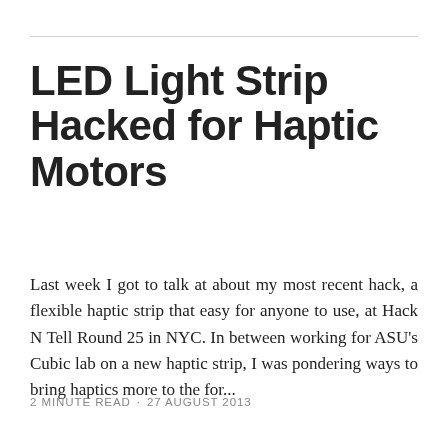LED Light Strip Hacked for Haptic Motors
Last week I got to talk at about my most recent hack, a flexible haptic strip that easy for anyone to use, at Hack N Tell Round 25 in NYC. In between working for ASU's Cubic lab on a new haptic strip, I was pondering ways to bring haptics more to the for...
2 MINUTE READ  ·  27 AUGUST 2013